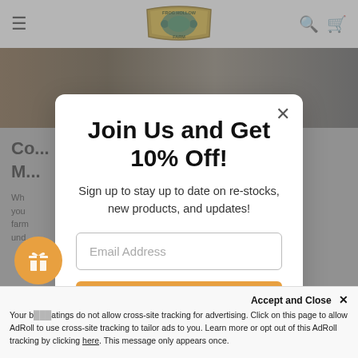[Figure (screenshot): Frog Hollow Farm website navigation bar with hamburger menu, logo, search and cart icons]
[Figure (photo): Hero image strip showing farm/nature imagery]
Join Us and Get 10% Off!
Sign up to stay up to date on re-stocks, new products, and updates!
Email Address
Subscribe
Co... M...
Wh... rd, you... farm... ove und...
Accept and Close ×
Your b... atings do not allow cross-site tracking for advertising. Click on this page to allow AdRoll to use cross-site tracking to tailor ads to you. Learn more or opt out of this AdRoll tracking by clicking here. This message only appears once.